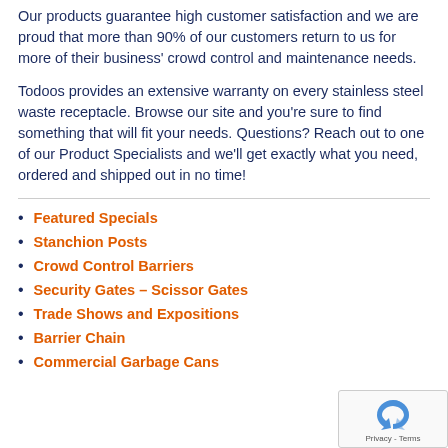Our products guarantee high customer satisfaction and we are proud that more than 90% of our customers return to us for more of their business' crowd control and maintenance needs.
Todoos provides an extensive warranty on every stainless steel waste receptacle. Browse our site and you're sure to find something that will fit your needs. Questions? Reach out to one of our Product Specialists and we'll get exactly what you need, ordered and shipped out in no time!
Featured Specials
Stanchion Posts
Crowd Control Barriers
Security Gates – Scissor Gates
Trade Shows and Expositions
Barrier Chain
Commercial Garbage Cans